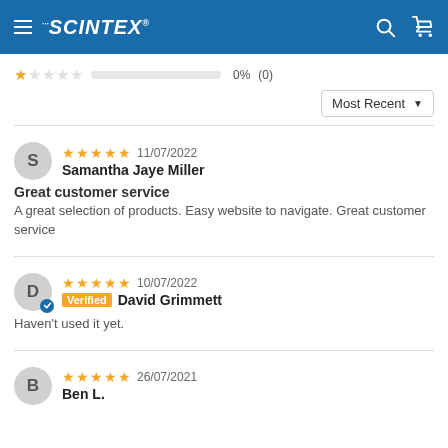SCINTEX
1 star rating: 0% (0)
Sort: Most Recent
S — Samantha Jaye Miller — 5 stars — 11/07/2022
Great customer service
A great selection of products. Easy website to navigate. Great customer service
D — David Grimmett — Verified — 5 stars — 10/07/2022
Haven't used it yet.
B — Ben L. — 5 stars — 26/07/2021